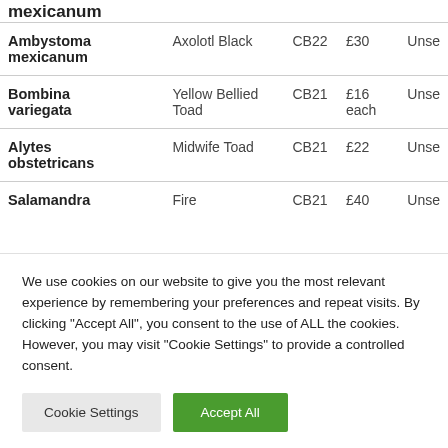| Latin Name | Common Name | CB Year | Price | Sex |
| --- | --- | --- | --- | --- |
| mexicanum (partial top) |  |  |  |  |
| Ambystoma mexicanum | Axolotl Black | CB22 | £30 | Unse… |
| Bombina variegata | Yellow Bellied Toad | CB21 | £16 each | Unse… |
| Alytes obstetricans | Midwife Toad | CB21 | £22 | Unse… |
| Salamandra | Fire | CB21 | £40 | Unse… |
We use cookies on our website to give you the most relevant experience by remembering your preferences and repeat visits. By clicking "Accept All", you consent to the use of ALL the cookies. However, you may visit "Cookie Settings" to provide a controlled consent.